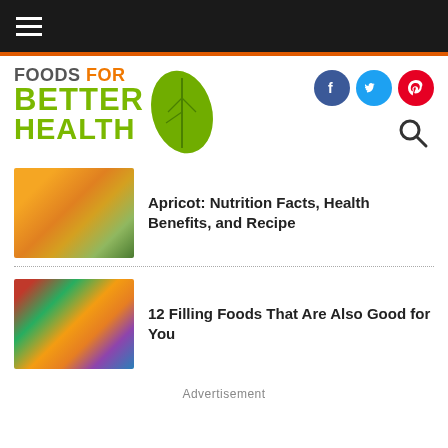Foods For Better Health - navigation bar
[Figure (logo): Foods For Better Health logo with green leaf icon and social media icons (Facebook, Twitter, Pinterest) and search icon]
[Figure (photo): Apricots in a basket with green leaves]
Apricot: Nutrition Facts, Health Benefits, and Recipe
[Figure (photo): Assorted healthy foods including meat, fish, vegetables, fruits, nuts]
12 Filling Foods That Are Also Good for You
Advertisement
POPULAR STORIES